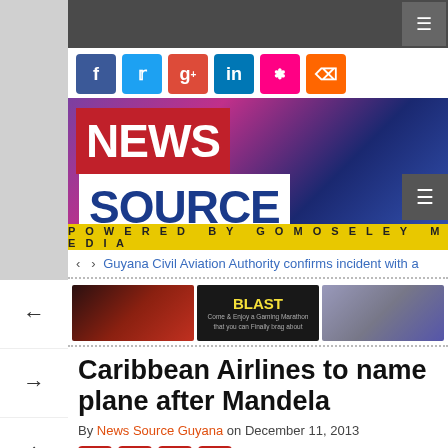[Figure (screenshot): News Source Guyana website screenshot showing logo, social icons, navigation, ads, article title and byline]
Caribbean Airlines to name plane after Mandela
By News Source Guyana on December 11, 2013
Guyana Civil Aviation Authority confirms incident with a
News Source – Powered by GoMoseley Media